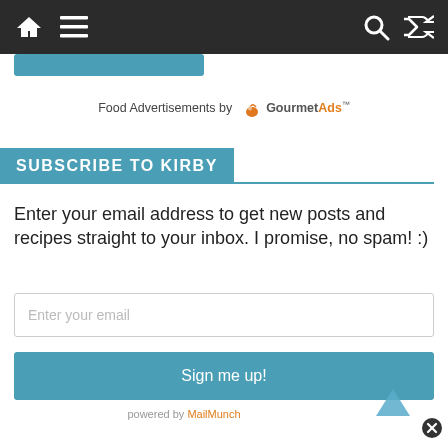Navigation bar with home, menu, search, and shuffle icons
[Figure (screenshot): Partial teal/blue button at top of content area]
Food Advertisements by GourmetAds™
SUBSCRIBE TO KIRBY
Enter your email address to get new posts and recipes straight to your inbox. I promise, no spam! :)
Enter your email
Sign me up!
powered by MailMunch